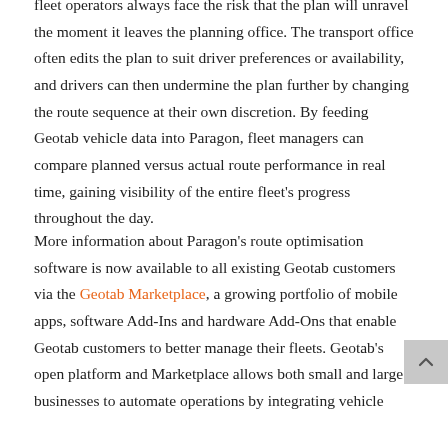fleet operators always face the risk that the plan will unravel the moment it leaves the planning office. The transport office often edits the plan to suit driver preferences or availability, and drivers can then undermine the plan further by changing the route sequence at their own discretion. By feeding Geotab vehicle data into Paragon, fleet managers can compare planned versus actual route performance in real time, gaining visibility of the entire fleet's progress throughout the day.
More information about Paragon's route optimisation software is now available to all existing Geotab customers via the Geotab Marketplace, a growing portfolio of mobile apps, software Add-Ins and hardware Add-Ons that enable Geotab customers to better manage their fleets. Geotab's open platform and Marketplace allows both small and large businesses to automate operations by integrating vehicle